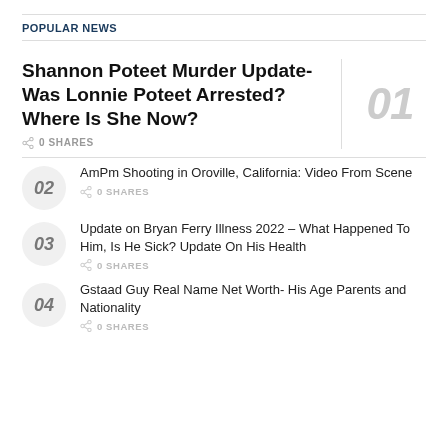POPULAR NEWS
Shannon Poteet Murder Update- Was Lonnie Poteet Arrested? Where Is She Now? — 0 SHARES — 01
AmPm Shooting in Oroville, California: Video From Scene — 0 SHARES — 02
Update on Bryan Ferry Illness 2022 – What Happened To Him, Is He Sick? Update On His Health — 0 SHARES — 03
Gstaad Guy Real Name Net Worth- His Age Parents and Nationality — 0 SHARES — 04